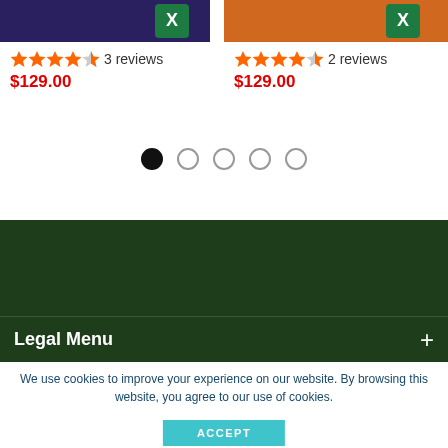[Figure (screenshot): Left product card image with dark purple/blue background and Excel-style green icon]
[Figure (screenshot): Right product card image with orange background and Excel-style green icon]
★★★★☆ 3 reviews
$129.00
★★★★☆ 2 reviews
$129.00
[Figure (other): Carousel pagination dots: 5 dots with first dot filled black]
[Figure (other): Dark green footer/navigation background area]
Legal Menu +
We use cookies to improve your experience on our website. By browsing this website, you agree to our use of cookies.
ACCEPT